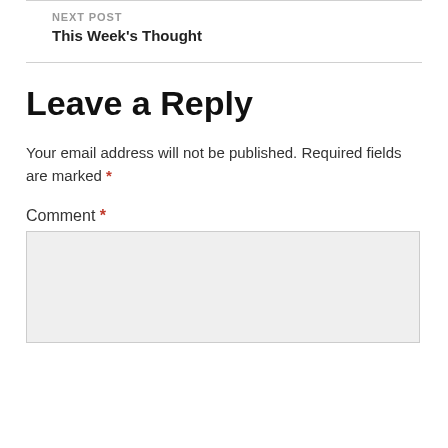NEXT POST
This Week's Thought
Leave a Reply
Your email address will not be published. Required fields are marked *
Comment *